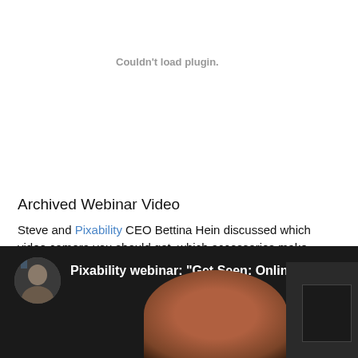Couldn't load plugin.
Archived Webinar Video
Steve and Pixability CEO Bettina Hein discussed which video camera you should get, which accessories make sense, how to look good on camera, where to find great shooting locations, and how online video can help your business.
[Figure (screenshot): Video thumbnail showing Pixability webinar titled 'Get Seen: Online Vide...' with avatar circle on left, person's face visible at bottom center, and camera equipment on right side. Dark background with white text overlay.]